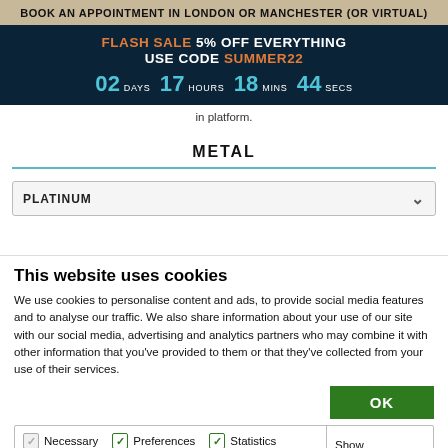BOOK AN APPOINTMENT IN LONDON OR MANCHESTER (OR VIRTUAL)
FLASH SALE 5% OFF EVERYTHING
USE CODE SUMMER22
02 DAYS 17 HOURS 18 MINS 44 SECS
in platform.
METAL
PLATINUM
This website uses cookies
We use cookies to personalise content and ads, to provide social media features and to analyse our traffic. We also share information about your use of our site with our social media, advertising and analytics partners who may combine it with other information that you've provided to them or that they've collected from your use of their services.
OK
Necessary  Preferences  Statistics  Marketing  Show details